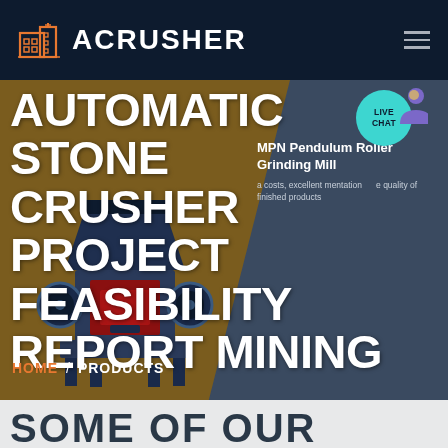ACRUSHER
AUTOMATIC STONE CRUSHER PROJECT FEASIBILITY REPORT MINING
MPN Pendulum Roller Grinding Mill
a costs, excellent mentation quality of finished products
[Figure (screenshot): Website screenshot showing ACRUSHER company logo in dark navy navigation bar with orange building icon. Below is a hero banner with brown-left and dark blue-right diagonal split layout. A stone crusher machine is visible on the left. A 'LIVE CHAT' teal circle with chat person icon appears in the top right of the hero. Large white bold text reads 'AUTOMATIC STONE CRUSHER PROJECT FEASIBILITY REPORT MINING'. Breadcrumb navigation shows 'HOME / PRODUCTS' in orange and white.]
HOME / PRODUCTS